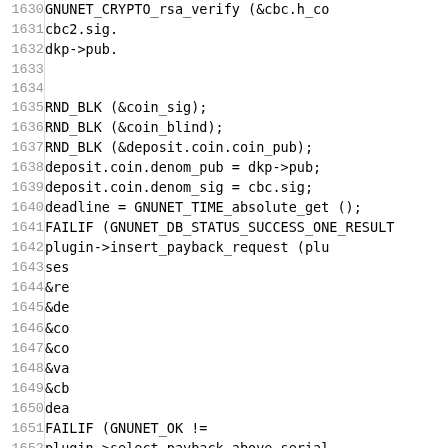[Figure (other): Source code listing with line numbers 1630-1659, showing C code for cryptographic and database operations including GNUNET_CRYPTO_rsa_verify, RND_BLK calls, deposit operations, FAILIF statements, and GNUNET_assert.]